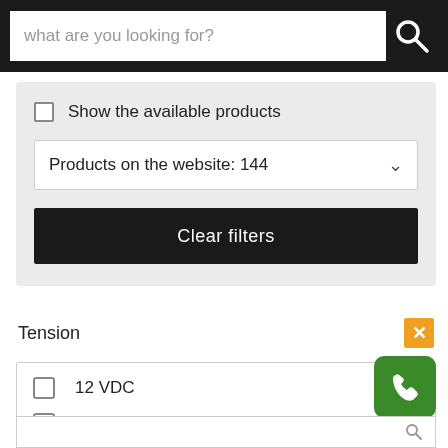[Figure (screenshot): Search bar with placeholder text 'what are you looking for?' on a dark background with a search icon]
Show the available products
Products on the website: 144
Clear filters
Tension
12 VDC
24 VDC
115/230 VAC